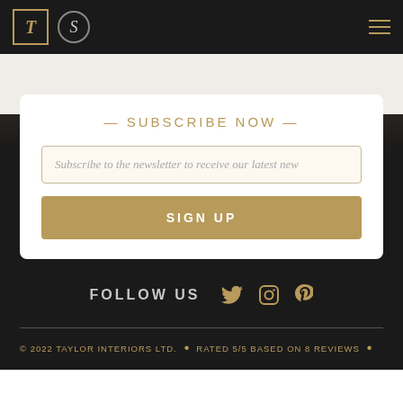[Figure (logo): Taylor Interiors logo (T in gold square) and Squarespace logo in dark header bar with hamburger menu]
— SUBSCRIBE NOW —
Subscribe to the newsletter to receive our latest new
SIGN UP
FOLLOW US
[Figure (illustration): Social media icons: Twitter bird, Instagram camera, Pinterest P in gold color]
© 2022 TAYLOR INTERIORS LTD. • RATED 5/5 BASED ON 8 REVIEWS •